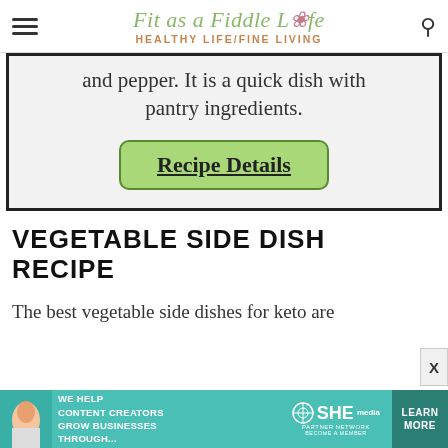Fit as a Fiddle Life / HEALTHY LIFE/FINE LIVING
and pepper. It is a quick dish with pantry ingredients.
Recipe Details
VEGETABLE SIDE DISH RECIPE
The best vegetable side dishes for keto are
[Figure (screenshot): Advertisement banner for SHE Media Partner Network: WE HELP CONTENT CREATORS GROW BUSINESSES THROUGH... BECOME A MEMBER, with LEARN MORE button]